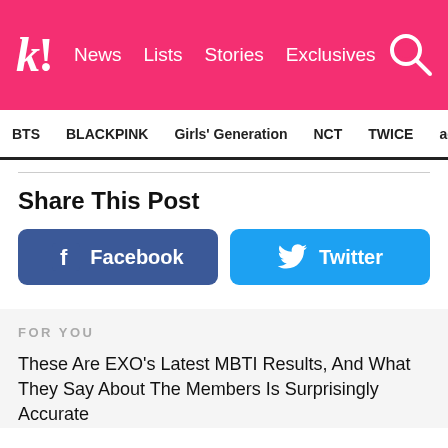k! News Lists Stories Exclusives
BTS  BLACKPINK  Girls' Generation  NCT  TWICE  aespa
Share This Post
[Figure (other): Facebook share button (blue rounded rectangle with Facebook 'f' icon and text 'Facebook')]
[Figure (other): Twitter share button (light blue rounded rectangle with Twitter bird icon and text 'Twitter')]
FOR YOU
These Are EXO's Latest MBTI Results, And What They Say About The Members Is Surprisingly Accurate